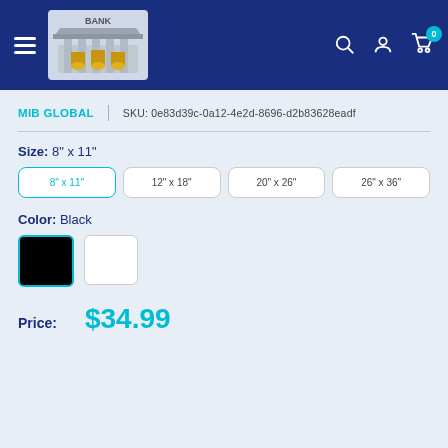[Figure (screenshot): E-commerce website header with dark blue background, hamburger menu, bank logo, and navigation icons (search, account, cart with 0 badge)]
MIB GLOBAL | SKU: 0e83d39c-0a12-4e2d-8696-d2b83628eadf
Size: 8" x 11"
8" x 11" (selected)
12" x 18"
20" x 26"
26" x 36"
Color: Black
Price: $34.99